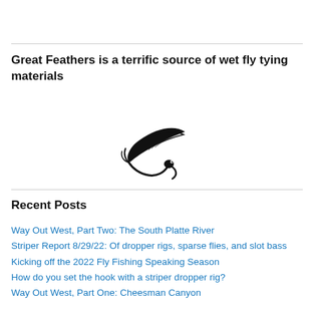Great Feathers is a terrific source of wet fly tying materials
[Figure (logo): A stylized black ink drawing of a wet fly / fishing fly logo]
Recent Posts
Way Out West, Part Two: The South Platte River
Striper Report 8/29/22: Of dropper rigs, sparse flies, and slot bass
Kicking off the 2022 Fly Fishing Speaking Season
How do you set the hook with a striper dropper rig?
Way Out West, Part One: Cheesman Canyon